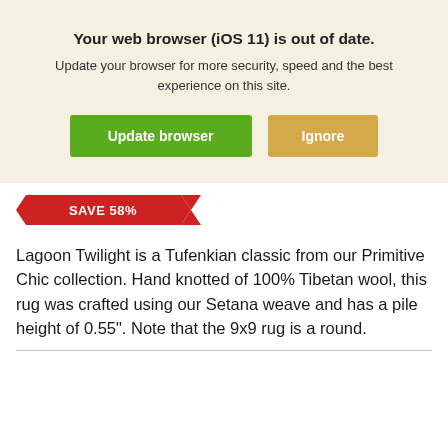Your web browser (iOS 11) is out of date.
Update your browser for more security, speed and the best experience on this site.
[Figure (infographic): Two buttons: a green 'Update browser' button and a tan/gold 'Ignore' button]
[Figure (infographic): Red arrow badge reading SAVE 58%]
Lagoon Twilight is a Tufenkian classic from our Primitive Chic collection. Hand knotted of 100% Tibetan wool, this rug was crafted using our Setana weave and has a pile height of 0.55". Note that the 9x9 rug is a round.